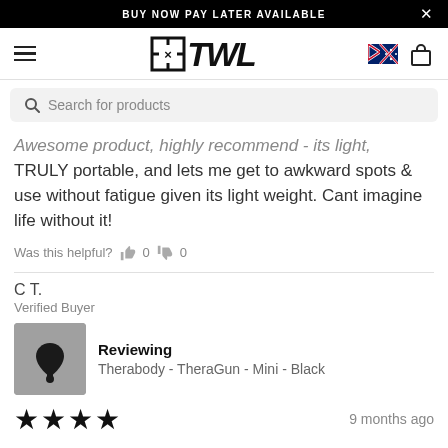BUY NOW PAY LATER AVAILABLE
[Figure (logo): TWL (Training With Legends) logo with crosshair icon]
Search for products
Awesome product, highly recommend - its light, TRULY portable, and lets me get to awkward spots & use without fatigue given its light weight. Cant imagine life without it!
Was this helpful?   0   0
C T.
Verified Buyer
Reviewing
Therabody - TheraGun - Mini - Black
9 months ago